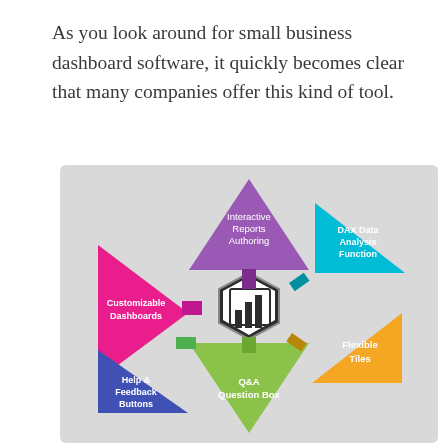As you look around for small business dashboard software, it quickly becomes clear that many companies offer this kind of tool.
[Figure (infographic): A circular infographic showing six features arranged around a central hexagon with a bar chart icon. Features: Interactive Reports Authoring (purple triangle, top center), DAX Data Analysis Function (cyan triangle, top right), Flexible Tiles (yellow triangle, bottom right), Q&A Question Box (green triangle, bottom center), Help & Feedback Buttons (blue triangle, bottom left), Customizable Dashboards (pink triangle, left). All on a light gray background.]